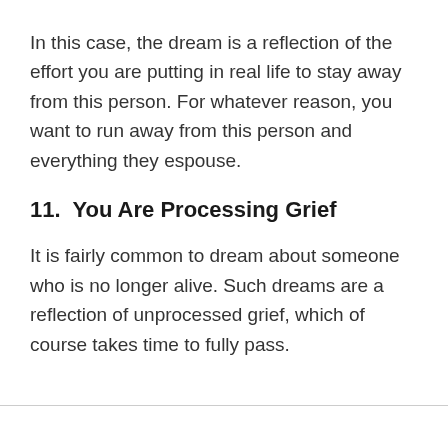In this case, the dream is a reflection of the effort you are putting in real life to stay away from this person. For whatever reason, you want to run away from this person and everything they espouse.
11.  You Are Processing Grief
It is fairly common to dream about someone who is no longer alive. Such dreams are a reflection of unprocessed grief, which of course takes time to fully pass.